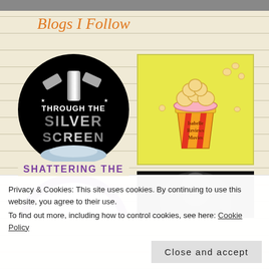Blogs I Follow
[Figure (logo): Through The Silver Screen circular logo — black background with silver metallic text reading THROUGH THE SILVER SCREEN and movie ticket graphics]
[Figure (illustration): Isabelle Reviews Movies logo — yellow background with illustrated popcorn bucket in red and yellow stripes]
[Figure (logo): Partial purple circular logo partially visible at bottom left]
[Figure (photo): Partial dark photo partially visible at bottom right]
Privacy & Cookies: This site uses cookies. By continuing to use this website, you agree to their use.
To find out more, including how to control cookies, see here: Cookie Policy
Close and accept